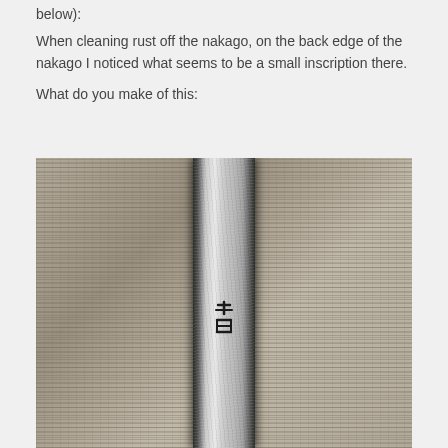below):
When cleaning rust off the nakago, on the back edge of the nakago I noticed what seems to be a small inscription there.
What do you make of this:
[Figure (photo): Close-up photograph of a sword nakago (tang) showing a vertical metal strip with a textured, cleaned metallic surface against a rough textile background. Small inscription marks visible on the nakago surface.]